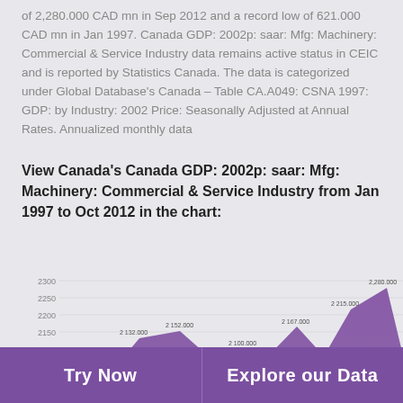of 2,280.000 CAD mn in Sep 2012 and a record low of 621.000 CAD mn in Jan 1997. Canada GDP: 2002p: saar: Mfg: Machinery: Commercial & Service Industry data remains active status in CEIC and is reported by Statistics Canada. The data is categorized under Global Database's Canada – Table CA.A049: CSNA 1997: GDP: by Industry: 2002 Price: Seasonally Adjusted at Annual Rates. Annualized monthly data
View Canada's Canada GDP: 2002p: saar: Mfg: Machinery: Commercial & Service Industry from Jan 1997 to Oct 2012 in the chart:
[Figure (area-chart): Canada GDP: 2002p: saar: Mfg: Machinery: Commercial & Service Industry]
Try Now | Explore our Data